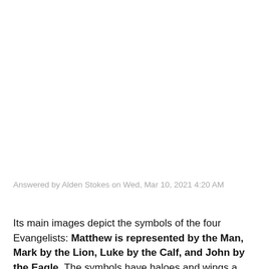Answered by Alden Stokes on Wed, Mar 10, 2021 4:20 AM
Its main images depict the symbols of the four Evangelists: Matthew is represented by the Man, Mark by the Lion, Luke by the Calf, and John by the Eagle. The symbols have haloes and wings a